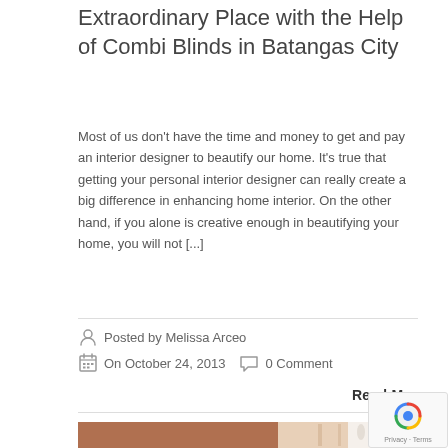Extraordinary Place with the Help of Combi Blinds in Batangas City
Most of us don't have the time and money to get and pay an interior designer to beautify our home. It's true that getting your personal interior designer can really create a big difference in enhancing home interior. On the other hand, if you alone is creative enough in beautifying your home, you will not [...]
Posted by Melissa Arceo
On October 24, 2013
0 Comment
Read More
[Figure (photo): Partial view of a room interior with ceiling and pendant light]